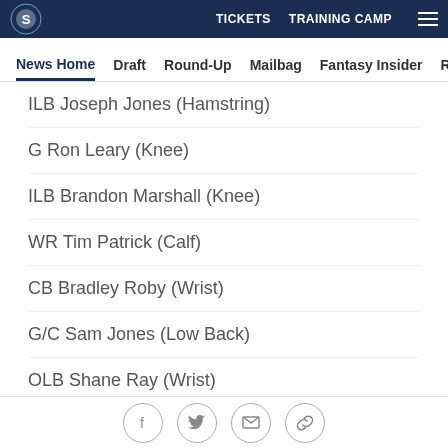TICKETS  TRAINING CAMP
News Home  Draft  Round-Up  Mailbag  Fantasy Insider  Roster
ILB Joseph Jones (Hamstring)
G Ron Leary (Knee)
ILB Brandon Marshall (Knee)
WR Tim Patrick (Calf)
CB Bradley Roby (Wrist)
G/C Sam Jones (Low Back)
OLB Shane Ray (Wrist)
DE Derek Wolf (Hand)